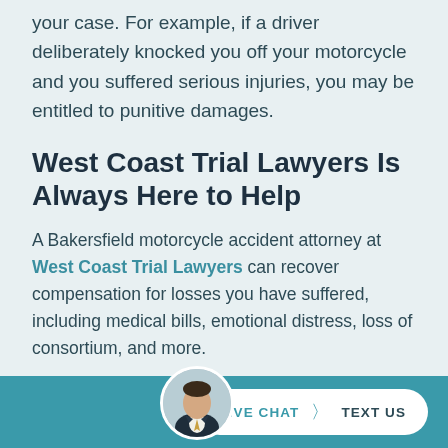your case. For example, if a driver deliberately knocked you off your motorcycle and you suffered serious injuries, you may be entitled to punitive damages.
West Coast Trial Lawyers Is Always Here to Help
A Bakersfield motorcycle accident attorney at West Coast Trial Lawyers can recover compensation for losses you have suffered, including medical bills, emotional distress, loss of consortium, and more.
Contact us today by calling (661) 299-7554 or emailing info@westcoasttriallawyers.com to
[Figure (photo): Circular avatar photo of a man in a suit, displayed in the footer bar]
LIVE CHAT | TEXT US